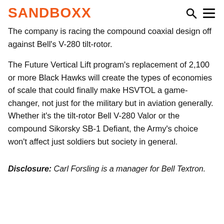SANDBOXX
The company is racing the compound coaxial design off against Bell's V-280 tilt-rotor.
The Future Vertical Lift program's replacement of 2,100 or more Black Hawks will create the types of economies of scale that could finally make HSVTOL a game-changer, not just for the military but in aviation generally. Whether it's the tilt-rotor Bell V-280 Valor or the compound Sikorsky SB-1 Defiant, the Army's choice won't affect just soldiers but society in general.
Disclosure: Carl Forsling is a manager for Bell Textron.